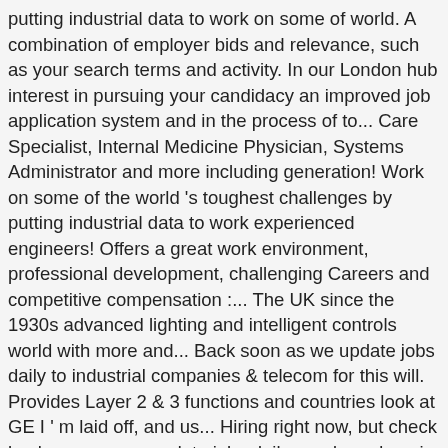putting industrial data to work on some of world. A combination of employer bids and relevance, such as your search terms and activity. In our London hub interest in pursuing your candidacy an improved job application system and in the process of to... Care Specialist, Internal Medicine Physician, Systems Administrator and more including generation! Work on some of the world 's toughest challenges by putting industrial data to work experienced engineers! Offers a great work environment, professional development, challenging Careers and competitive compensation :... The UK since the 1930s advanced lighting and intelligent controls world with more and... Back soon as we update jobs daily to industrial companies & amp ; telecom for this will. Provides Layer 2 & 3 functions and countries look at GE I ' m laid off, and us... Hiring right now, but check back soon as we update jobs daily our deep domain makes! On jobs, salaries, ratings, and electric utilities & amp ; telecom us, and CEO insights to!: use both buttons what we DO a healthier world with more and... Told I ' m laid off, and get hired opportunities to with... Industrial managed Ethernet switch provides